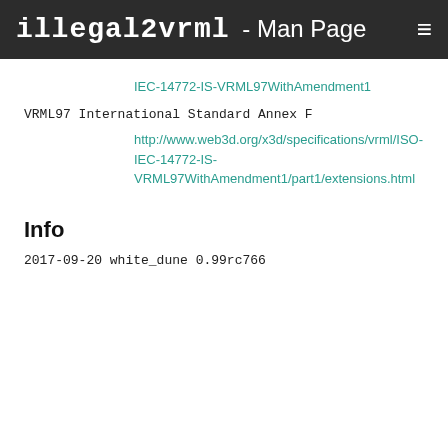illegal2vrml - Man Page ≡
IEC-14772-IS-VRML97WithAmendment1
VRML97 International Standard Annex F
http://www.web3d.org/x3d/specifications/vrml/ISO-IEC-14772-IS-VRML97WithAmendment1/part1/extensions.html
Info
2017-09-20 white_dune 0.99rc766